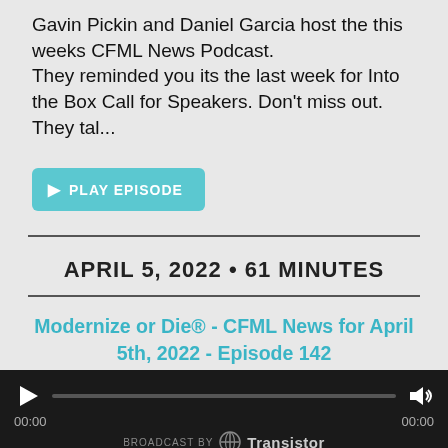Gavin Pickin and Daniel Garcia host the this weeks CFML News Podcast.
They reminded you its the last week for Into the Box Call for Speakers. Don't miss out. They tal...
[Figure (other): Teal 'PLAY EPISODE' button with play triangle icon]
APRIL 5, 2022 • 61 MINUTES
Modernize or Die® - CFML News for April 5th, 2022 - Episode 142
Eric Peterson and Brad Wood host the this weeks CFML News Podcast.
[Figure (other): Audio player bar with play button, progress bar, volume icon, timestamps 00:00 and 00:00, and Transistor branding]